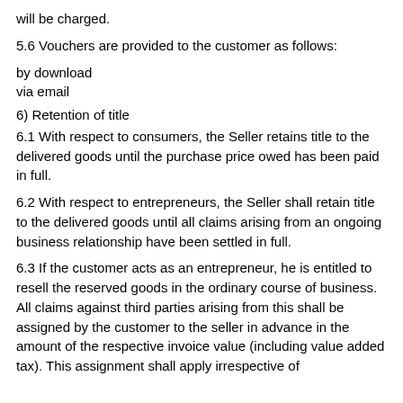will be charged.
5.6 Vouchers are provided to the customer as follows:
by download
via email
6) Retention of title
6.1 With respect to consumers, the Seller retains title to the delivered goods until the purchase price owed has been paid in full.
6.2 With respect to entrepreneurs, the Seller shall retain title to the delivered goods until all claims arising from an ongoing business relationship have been settled in full.
6.3 If the customer acts as an entrepreneur, he is entitled to resell the reserved goods in the ordinary course of business. All claims against third parties arising from this shall be assigned by the customer to the seller in advance in the amount of the respective invoice value (including value added tax). This assignment shall apply irrespective of